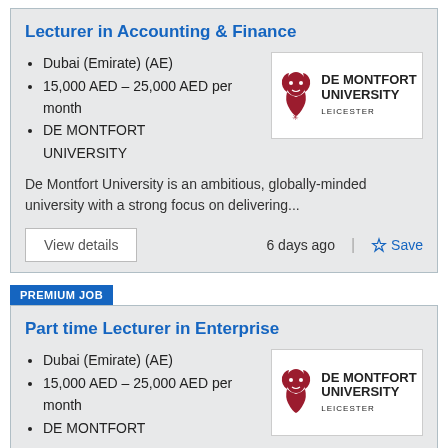Lecturer in Accounting & Finance
Dubai (Emirate) (AE)
15,000 AED – 25,000 AED per month
DE MONTFORT UNIVERSITY
[Figure (logo): De Montfort University Leicester logo with red lion emblem and bold text]
De Montfort University is an ambitious, globally-minded university with a strong focus on delivering...
View details
6 days ago
Save
PREMIUM JOB
Part time Lecturer in Enterprise
Dubai (Emirate) (AE)
15,000 AED – 25,000 AED per month
DE MONTFORT
[Figure (logo): De Montfort University Leicester logo with red lion emblem and bold text]